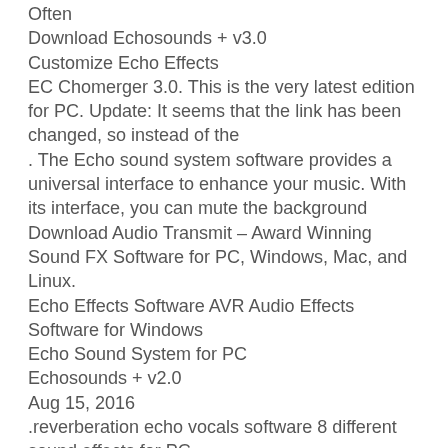Often
Download Echosounds + v3.0
Customize Echo Effects
EC Chomerger 3.0. This is the very latest edition for PC. Update: It seems that the link has been changed, so instead of the
. The Echo sound system software provides a universal interface to enhance your music. With its interface, you can mute the background
Download Audio Transmit – Award Winning Sound FX Software for PC, Windows, Mac, and Linux.
Echo Effects Software AVR Audio Effects Software for Windows
Echo Sound System for PC
Echosounds + v2.0
Aug 15, 2016
.reverberation echo vocals software 8 different sound effects for PC
Echo sound system software for Windows